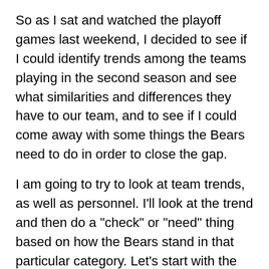So as I sat and watched the playoff games last weekend, I decided to see if I could identify trends among the teams playing in the second season and see what similarities and differences they have to our team, and to see if I could come away with some things the Bears need to do in order to close the gap.
I am going to try to look at team trends, as well as personnel. I'll look at the trend and then do a "check" or "need" thing based on how the Bears stand in that particular category. Let's start with the individuals:
Personnel
1) A 4,000-yard passer: Seven playoff teams feature a 4,000 yard passer, that number would probably be higher, except that Matt Schaub got hurt before